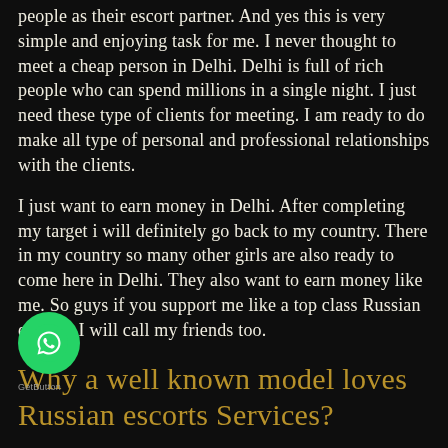people as their escort partner. And yes this is very simple and enjoying task for me. I never thought to meet a cheap person in Delhi. Delhi is full of rich people who can spend millions in a single night. I just need these type of clients for meeting. I am ready to do make all type of personal and professional relationships with the clients.
I just want to earn money in Delhi. After completing my target i will definitely go back to my country. There in my country so many other girls are also ready to come here in Delhi. They also want to earn money like me. So guys if you support me like a top class Russian escorts, I will call my friends too.
Why a well known model loves Russian escorts Services?